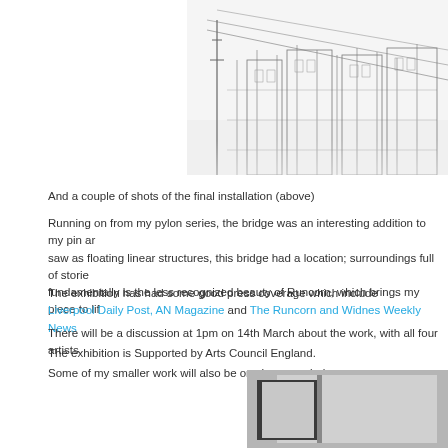[Figure (photo): Architectural line drawing / wire-frame illustration of buildings and structures, black lines on white/light background, photo of installation]
And a couple of shots of the final installation (above)
Running on from my pylon series, the bridge was an interesting addition to my pin ar saw as floating linear structures, this bridge had a location; surroundings full of storie fundamentally is the less recognized beauty of Runcorn, which brings my piece to lif
The exhibition has had some good press coverage which include Liverpool Daily Post, AN Magazine and The Runcorn and Widnes Weekly News
There will be a discussion at 1pm on 14th March about the work, with all four artists
The exhibition is Supported by Arts Council England.
Some of my smaller work will also be on show, see below
[Figure (photo): Close-up photo of a framed artwork or canvas, grey tones]